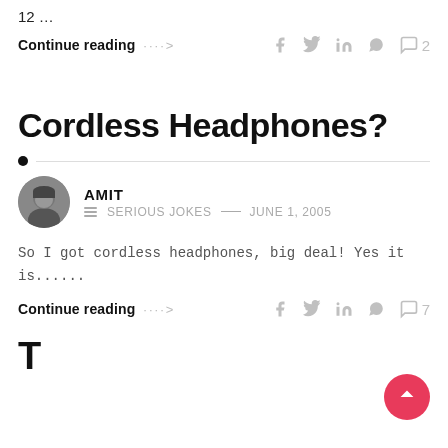12 …
Continue reading ····>
Cordless Headphones?
AMIT  SERIOUS JOKES  —  JUNE 1, 2005
So I got cordless headphones, big deal! Yes it is......
Continue reading ····>
Terrorist MSN Radically…